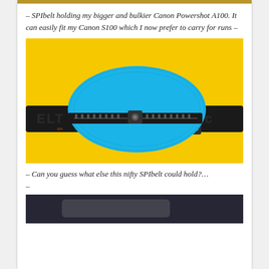– SPIbelt holding my bigger and bulkier Canon Powershot A100. It can easily fit my Canon S100 which I now prefer to carry for runs –
[Figure (photo): A blue SPIbelt running pouch with a black zipper and black strap with 'ELT' text visible, photographed against a bright yellow background.]
– Can you guess what else this nifty SPIbelt could hold?…
–
[Figure (photo): Partial view of a second photo at the bottom of the page, dark background visible.]